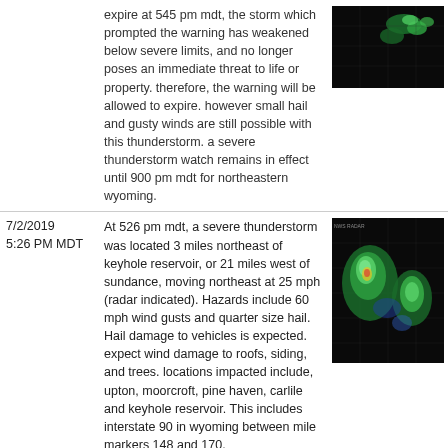| Date/Time | Description | Radar Image |
| --- | --- | --- |
|  | expire at 545 pm mdt, the storm which prompted the warning has weakened below severe limits, and no longer poses an immediate threat to life or property. therefore, the warning will be allowed to expire. however small hail and gusty winds are still possible with this thunderstorm. a severe thunderstorm watch remains in effect until 900 pm mdt for northeastern wyoming. | [radar image] |
| 7/2/2019 5:26 PM MDT | At 526 pm mdt, a severe thunderstorm was located 3 miles northeast of keyhole reservoir, or 21 miles west of sundance, moving northeast at 25 mph (radar indicated). Hazards include 60 mph wind gusts and quarter size hail. Hail damage to vehicles is expected. expect wind damage to roofs, siding, and trees. locations impacted include, upton, moorcroft, pine haven, carlile and keyhole reservoir. This includes interstate 90 in wyoming between mile markers 148 and 170. | [radar image] |
| 7/2/2019 5:15 PM MDT | At 515 pm mdt, a severe thunderstorm was located 3 miles northwest of keyhole reservoir, or 26 miles west of sundance, moving | [radar image] |